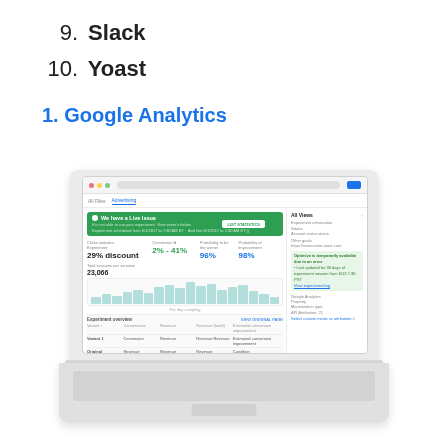9. Slack
10. Yoast
1. Google Analytics
[Figure (screenshot): Screenshot of a Google Analytics dashboard displayed on a white laptop, showing a green promotional banner, statistics including '29% discount', '2% - 41%', '96%', '98%', a bar chart showing session data with value '23,066', and an experiment results table below.]